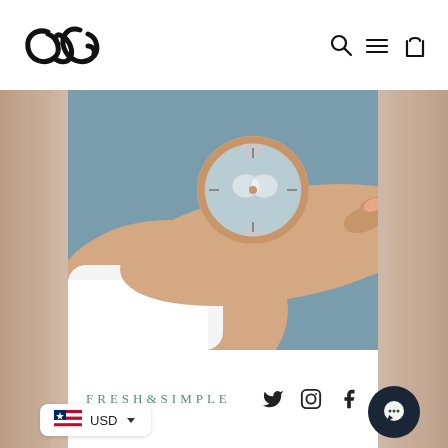[Figure (logo): Stylized cursive 'dG' logo in black]
[Figure (infographic): Navigation icons: search magnifier, hamburger menu, shopping bag]
[Figure (photo): Close-up photo of a luxury watch on a woman's wrist against a blue-grey background]
FRESH&SIMPLE
[Figure (infographic): Social media icons: Twitter bird, Instagram camera, Facebook f]
[Figure (infographic): USD currency selector with Liberian flag and dropdown arrow]
[Figure (infographic): Dark circular chat/messaging button]